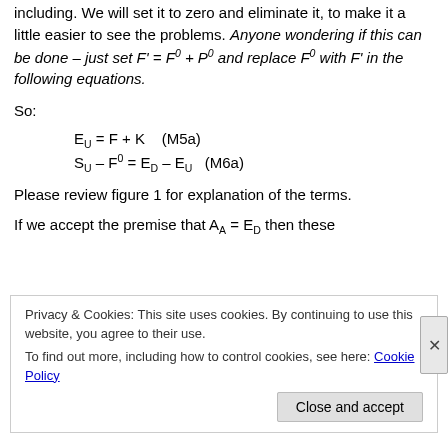including. We will set it to zero and eliminate it, to make it a little easier to see the problems. Anyone wondering if this can be done – just set F' = F⁰ + P⁰ and replace F⁰ with F' in the following equations.
So:
Please review figure 1 for explanation of the terms.
If we accept the premise that A_A = E_D then these
Privacy & Cookies: This site uses cookies. By continuing to use this website, you agree to their use.
To find out more, including how to control cookies, see here: Cookie Policy
Close and accept